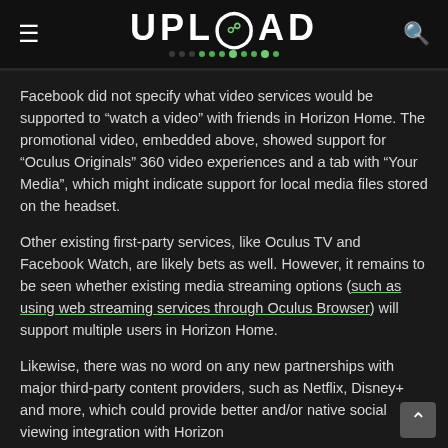UPLOAD
Facebook did not specify what video services would be supported to “watch a video” with friends in Horizon Home. The promotional video, embedded above, showed support for “Oculus Originals” 360 video experiences and a tab with “Your Media”, which might indicate support for local media files stored on the headset.
Other existing first-party services, like Oculus TV and Facebook Watch, are likely bets as well. However, it remains to be seen whether existing media streaming options (such as using web streaming services through Oculus Browser) will support multiple users in Horizon Home.
Likewise, there was no word on any new partnerships with major third-party content providers, such as Netflix, Disney+ and more, which could provide better and/or native social viewing integration with Horizon